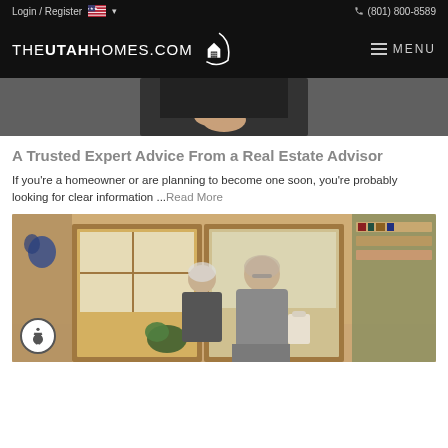Login / Register  🇺🇸 ▾    ☎ (801) 800-8589
[Figure (logo): THEUTAHHOMES.COM logo with house icon on black background, plus MENU hamburger button]
[Figure (photo): Partial view of a person in a black sweater holding their hands together, against a blurred background]
A Trusted Expert Advice From a Real Estate Advisor
If you're a homeowner or are planning to become one soon, you're probably looking for clear information ...Read More
[Figure (photo): Two older adults (a man and a woman) entering a warmly lit home with wooden door frames and bookshelves visible. An accessibility icon button is overlaid in the bottom-left corner.]